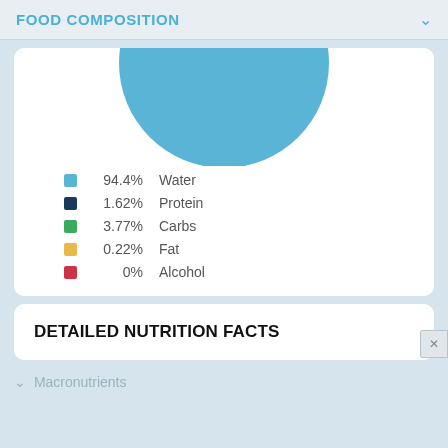FOOD COMPOSITION
[Figure (pie-chart): Food Composition]
94.4% Water
1.62% Protein
3.77% Carbs
0.22% Fat
0% Alcohol
DETAILED NUTRITION FACTS
Macronutrients